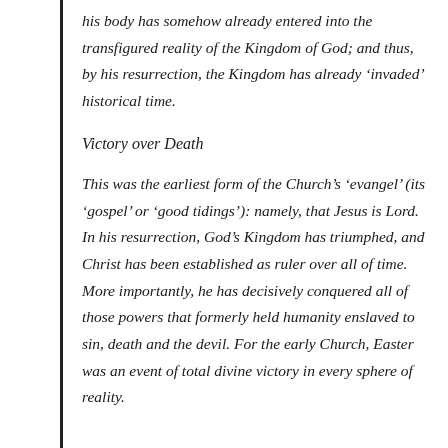his body has somehow already entered into the transfigured reality of the Kingdom of God; and thus, by his resurrection, the Kingdom has already ‘invaded’ historical time.
Victory over Death
This was the earliest form of the Church’s ‘evangel’ (its ‘gospel’ or ‘good tidings’): namely, that Jesus is Lord. In his resurrection, God’s Kingdom has triumphed, and Christ has been established as ruler over all of time. More importantly, he has decisively conquered all of those powers that formerly held humanity enslaved to sin, death and the devil. For the early Church, Easter was an event of total divine victory in every sphere of reality.